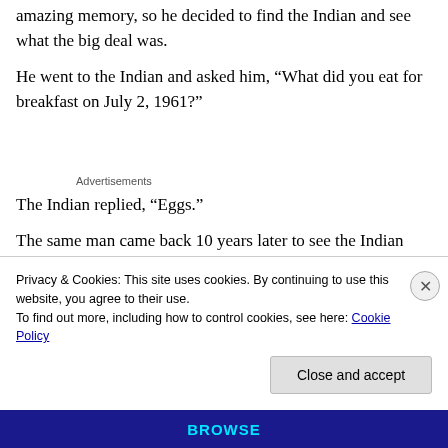amazing memory, so he decided to find the Indian and see what the big deal was.
He went to the Indian and asked him, “What did you eat for breakfast on July 2, 1961?”
Advertisements
The Indian replied, “Eggs.”
The same man came back 10 years later to see the Indian again. He greeted him by saying, “How”
Privacy & Cookies: This site uses cookies. By continuing to use this website, you agree to their use.
To find out more, including how to control cookies, see here: Cookie Policy